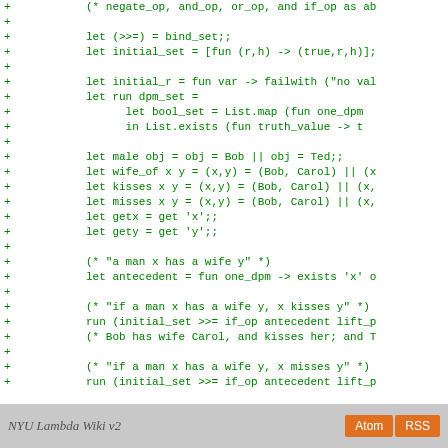Code diff showing OCaml code with bind_set, initial_set, initial_r, run dpm_set, male, wife_of, kisses, misses, getx, gety, antecedent and run expressions
NYU Lambda Wiki v2  Atom  RSS